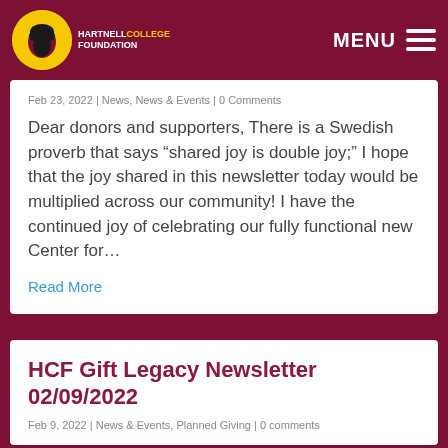Hartnell College Foundation | MENU
Feb 23, 2022 | News, News & Events | 0 Comments
Dear donors and supporters, There is a Swedish proverb that says “shared joy is double joy;” I hope that the joy shared in this newsletter today would be multiplied across our community! I have the continued joy of celebrating our fully functional new Center for...
Read More
HCF Gift Legacy Newsletter 02/09/2022
Feb 9, 2022 | News & Events, Planned Giving | 0 comments